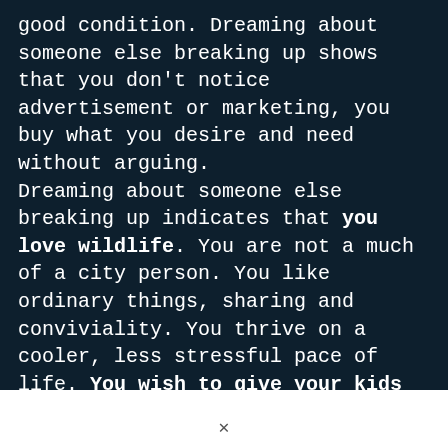good condition. Dreaming about someone else breaking up shows that you don't notice advertisement or marketing, you buy what you desire and need without arguing. Dreaming about someone else breaking up indicates that you love wildlife. You are not a much of a city person. You like ordinary things, sharing and conviviality. You thrive on a cooler, less stressful pace of life. You wish to give your kids the true value of things, you want to see them playing in the mud